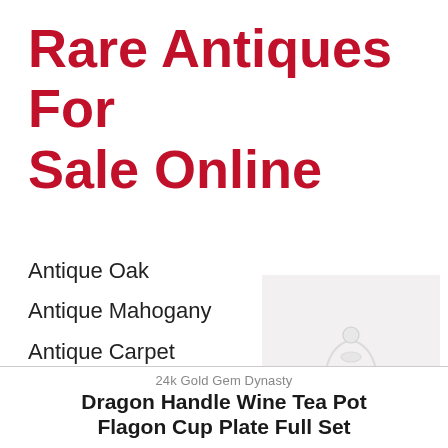Rare Antiques For Sale Online
Antique Oak
Antique Mahogany
Antique Carpet
Antique Painting
Antique Glass
Antique Plate
[Figure (illustration): Faint watermark image of a Chinese tea set / dragon design teapot, shown as a light gray ghost image overlay]
24k Gold Gem Dynasty
Dragon Handle Wine Tea Pot Flagon Cup Plate Full Set